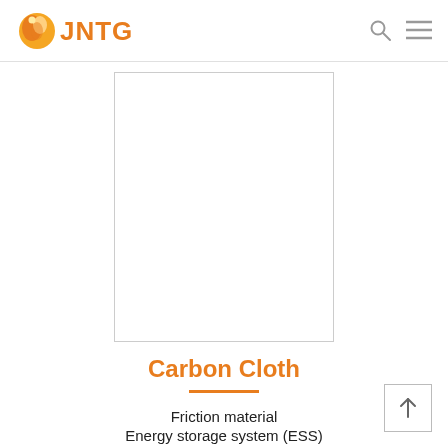JNTG
[Figure (photo): White/blank product image of Carbon Cloth inside a bordered rectangle]
Carbon Cloth
Friction material
Energy storage system (ESS)
Redox flow battery